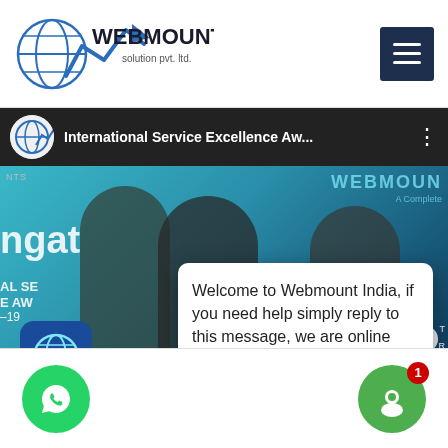[Figure (logo): Webmount Solution Pvt. Ltd. logo with globe and chart icon]
[Figure (screenshot): YouTube-style video player bar showing 'International Service Excellence Aw...' with avatar and three-dot menu]
[Figure (photo): Photo of three people at an award ceremony with Webmount branding in background, partially visible text 'ngat', 'AL SE', 'E AW', '-19']
Welcome to Webmount India, if you need help simply reply to this message, we are online and ready to help. Please contact us 7710843195
Customer Support       just now
[Figure (logo): WhatsApp circular button (green)]
[Figure (logo): Chat circular button (green) with red badge showing '1']